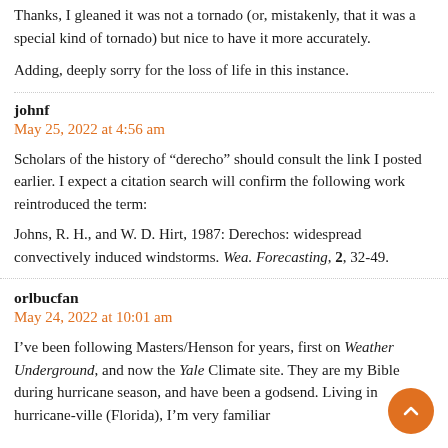Thanks, I gleaned it was not a tornado (or, mistakenly, that it was a special kind of tornado) but nice to have it more accurately.
Adding, deeply sorry for the loss of life in this instance.
johnf
May 25, 2022 at 4:56 am
Scholars of the history of “derecho” should consult the link I posted earlier. I expect a citation search will confirm the following work reintroduced the term:
Johns, R. H., and W. D. Hirt, 1987: Derechos: widespread convectively induced windstorms. Wea. Forecasting, 2, 32-49.
orlbucfan
May 24, 2022 at 10:01 am
I’ve been following Masters/Henson for years, first on Weather Underground, and now the Yale Climate site. They are my Bible during hurricane season, and have been a godsend. Living in hurricane-ville (Florida), I’m very familiar